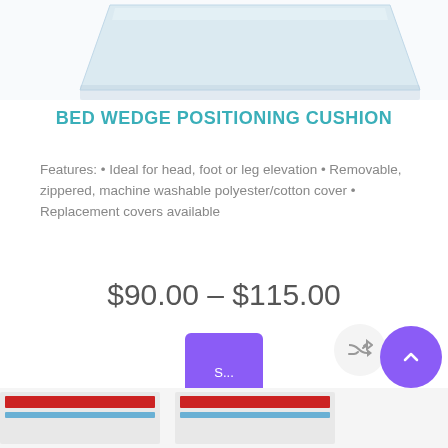[Figure (photo): Top portion of a bed wedge positioning cushion product image — light blue/white wedge shape partially visible at top of page]
BED WEDGE POSITIONING CUSHION
Features: • Ideal for head, foot or leg elevation • Removable, zippered, machine washable polyester/cotton cover • Replacement covers available
$90.00 – $115.00
[Figure (screenshot): Purple square button with text 'S...' (Select options button)]
[Figure (screenshot): Bottom portion showing product images with shuffle icon and up-arrow navigation button]